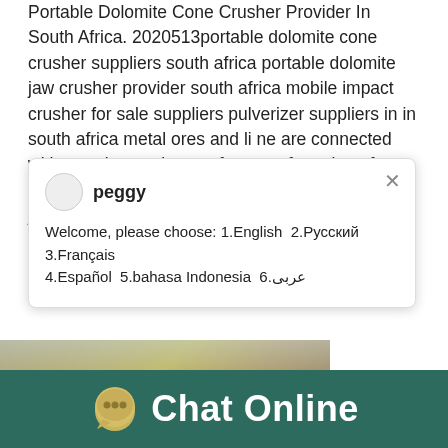Portable Dolomite Cone Crusher Provider In South Africa. 2020513portable dolomite cone crusher suppliers south africa portable dolomite jaw crusher provider south africa mobile impact crusher for sale suppliers pulverizer suppliers in in south africa metal ores and li ne are connected with quarries equipment for manufacturing of calcium carbonate 1100x800 premierplant mobile jaw Details read
[Figure (screenshot): Chat popup with avatar labeled 'peggy' and welcome message offering language choices: 1.English 2.Русский 3.Français 4.Español 5.bahasa Indonesia 6.عربى, with close button]
[Figure (photo): Industrial machinery photo showing yellow/orange crushing equipment in a factory setting, with a cone crusher image on the right panel, a cyan badge showing '1', and a 'Click me to chat>>' button]
Chat Online